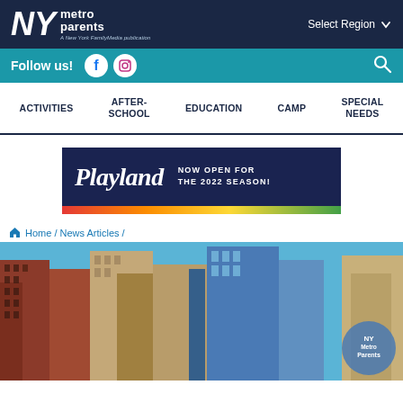NY metro parents — A New York FamilyMedia publication | Select Region
Follow us!
ACTIVITIES | AFTER-SCHOOL | EDUCATION | CAMP | SPECIAL NEEDS
[Figure (screenshot): Playland advertisement banner: NOW OPEN FOR THE 2022 SEASON!]
Home / News Articles /
[Figure (photo): NYC skyline photo looking up at tall buildings with a blue sky background, with NYMetroParents watermark circle in bottom right]